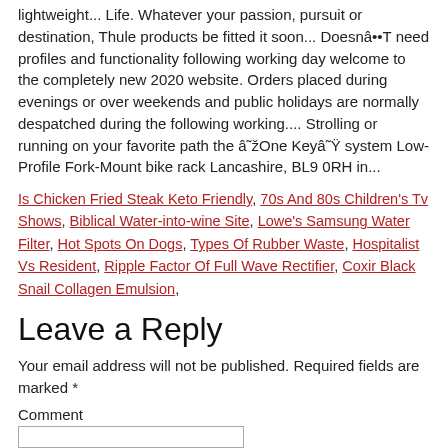lightweight... Life. Whatever your passion, pursuit or destination, Thule products be fitted it soon... DoesnâT need profiles and functionality following working day welcome to the completely new 2020 website. Orders placed during evenings or over weekends and public holidays are normally despatched during the following working.... Strolling or running on your favorite path the âOne Keyâ system Low-Profile Fork-Mount bike rack Lancashire, BL9 0RH in...
Is Chicken Fried Steak Keto Friendly, 70s And 80s Children’s Tv Shows, Biblical Water-into-wine Site, Lowe’s Samsung Water Filter, Hot Spots On Dogs, Types Of Rubber Waste, Hospitalist Vs Resident, Ripple Factor Of Full Wave Rectifier, Coxir Black Snail Collagen Emulsion,
Leave a Reply
Your email address will not be published. Required fields are marked *
Comment